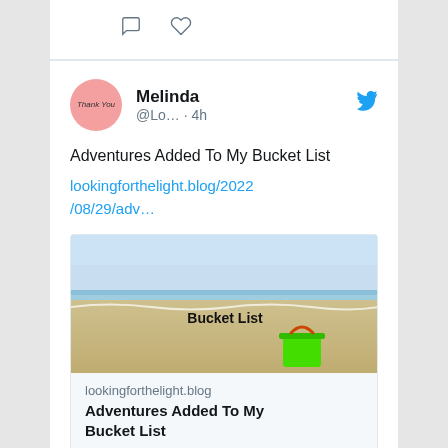[Figure (screenshot): Top of a previous tweet card showing comment and heart icons]
[Figure (screenshot): Twitter/social media post by Melinda (@Lo...) posted 4h ago with Twitter bird icon. Text: Adventures Added To My Bucket List. Link: lookingforthelight.blog/2022/08/29/adv... with a preview card showing a beach scene with a green bucket and text 'Bucket List'. Preview domain: lookingforthelight.blog, preview title: Adventures Added To My Bucket List. Bottom comment and heart icons.]